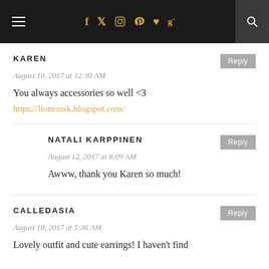Navigation bar with hamburger menu, social icons (facebook, twitter, instagram, pinterest, heart, google+), and search
KAREN
August 10, 2017 at 12:30 AM
You always accessories so well <3
https://lionesssk.blogspot.com/
NATALI KARPPINEN
August 12, 2017 at 8:09 AM
Awww, thank you Karen so much!
CALLEDASIA
August 10, 2017 at 5:36 AM
Lovely outfit and cute earrings! I haven't find